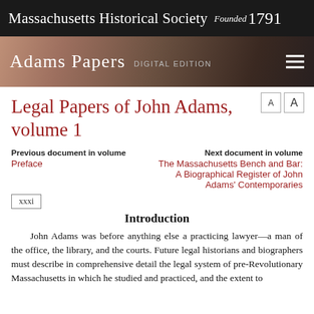Massachusetts Historical Society Founded 1791
[Figure (screenshot): Adams Papers Digital Edition banner with portrait background and hamburger menu icon]
Legal Papers of John Adams, volume 1
Previous document in volume
Preface
Next document in volume
The Massachusetts Bench and Bar: A Biographical Register of John Adams' Contemporaries
xxxi
Introduction
John Adams was before anything else a practicing lawyer—a man of the office, the library, and the courts. Future legal historians and biographers must describe in comprehensive detail the legal system of pre-Revolutionary Massachusetts in which he studied and practiced, and the extent to